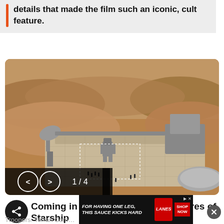details that made the film such an iconic, cult feature.
[Figure (screenshot): Aerial view of a sci-fi desert base with mech robots, satellite dish, and soldiers, with navigation controls showing 1/4]
Coming in 2020, these are the features of Starship Troopers: Terran Command:
[Figure (photo): Advertisement banner: FOR HAVING ONE LEG, THIS SAUCE KICKS HARD — LANES sauce, SHOP NOW button]